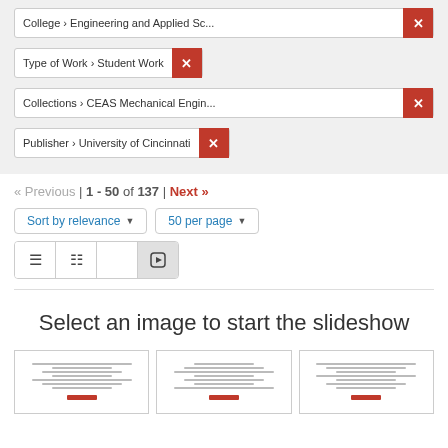College › Engineering and Applied Sc... ×
Type of Work › Student Work ×
Collections › CEAS Mechanical Engin... ×
Publisher › University of Cincinnati ×
« Previous | 1 - 50 of 137 | Next »
Sort by relevance ▾
50 per page ▾
Select an image to start the slideshow
[Figure (screenshot): Three document thumbnail images shown at the bottom of the page]